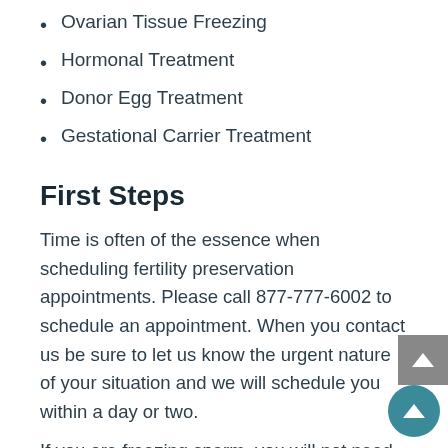Ovarian Tissue Freezing
Hormonal Treatment
Donor Egg Treatment
Gestational Carrier Treatment
First Steps
Time is often of the essence when scheduling fertility preservation appointments. Please call 877-777-6002 to schedule an appointment. When you contact us be sure to let us know the urgent nature of your situation and we will schedule you within a day or two.
If you are freezing sperm, you will not need to